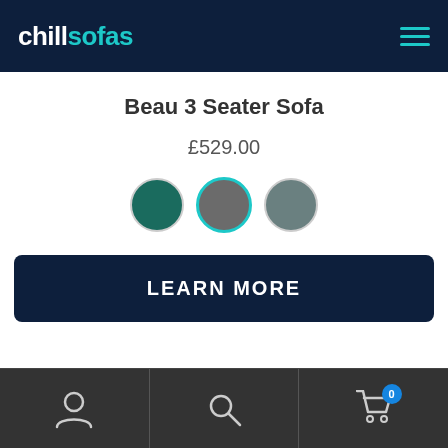chillsofas
Beau 3 Seater Sofa
£529.00
[Figure (other): Three color swatch circles: teal/dark green, dark gray (selected, highlighted with teal border), slate blue-gray]
LEARN MORE
Navigation bar with user icon, search icon, and cart icon with badge showing 0